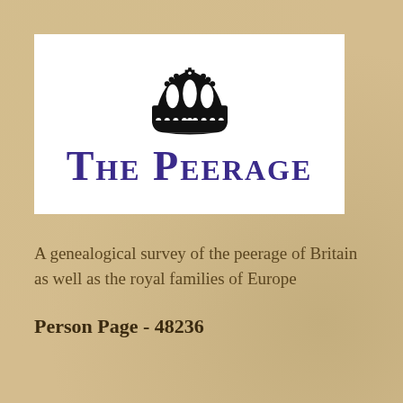[Figure (logo): The Peerage logo: a black heraldic crown above the text 'THE PEERAGE' in large purple small-caps serif font, on a white background.]
A genealogical survey of the peerage of Britain as well as the royal families of Europe
Person Page - 48236